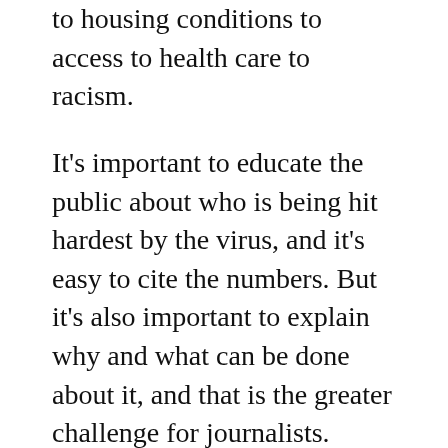to housing conditions to access to health care to racism.
It's important to educate the public about who is being hit hardest by the virus, and it's easy to cite the numbers. But it's also important to explain why and what can be done about it, and that is the greater challenge for journalists.
Tim Nickens recently retired as editor of editorials for the Tampa Bay Times. He and a colleague won the 2013 Pulitzer Prize for editorial